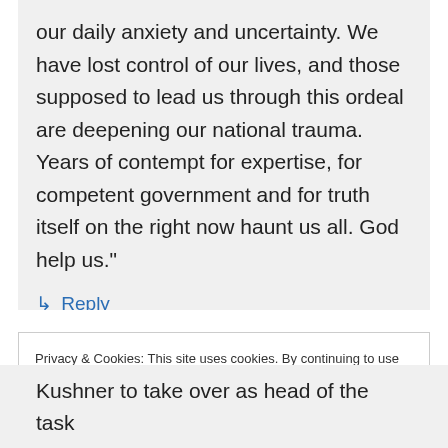our daily anxiety and uncertainty. We have lost control of our lives, and those supposed to lead us through this ordeal are deepening our national trauma. Years of contempt for expertise, for competent government and for truth itself on the right now haunt us all. God help us."
↳ Reply
Privacy & Cookies: This site uses cookies. By continuing to use this website, you agree to their use. To find out more, including how to control cookies, see here: Cookie Policy
Close and accept
Kushner to take over as head of the task